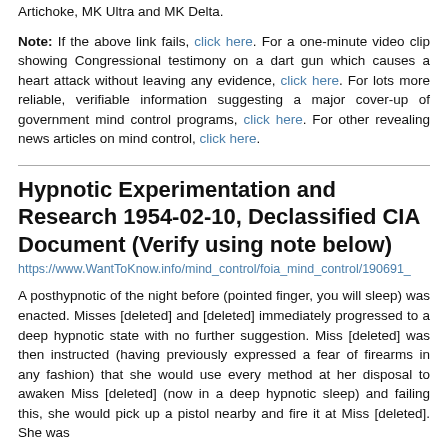Artichoke, MK Ultra and MK Delta.
Note: If the above link fails, click here. For a one-minute video clip showing Congressional testimony on a dart gun which causes a heart attack without leaving any evidence, click here. For lots more reliable, verifiable information suggesting a major cover-up of government mind control programs, click here. For other revealing news articles on mind control, click here.
Hypnotic Experimentation and Research 1954-02-10, Declassified CIA Document (Verify using note below)
https://www.WantToKnow.info/mind_control/foia_mind_control/190691_
A posthypnotic of the night before (pointed finger, you will sleep) was enacted. Misses [deleted] and [deleted] immediately progressed to a deep hypnotic state with no further suggestion. Miss [deleted] was then instructed (having previously expressed a fear of firearms in any fashion) that she would use every method at her disposal to awaken Miss [deleted] (now in a deep hypnotic sleep) and failing this, she would pick up a pistol nearby and fire it at Miss [deleted]. She was